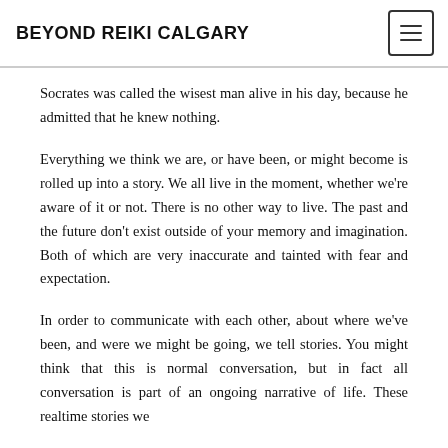BEYOND REIKI CALGARY
Socrates was called the wisest man alive in his day, because he admitted that he knew nothing.
Everything we think we are, or have been, or might become is rolled up into a story. We all live in the moment, whether we're aware of it or not. There is no other way to live. The past and the future don't exist outside of your memory and imagination. Both of which are very inaccurate and tainted with fear and expectation.
In order to communicate with each other, about where we've been, and were we might be going, we tell stories. You might think that this is normal conversation, but in fact all conversation is part of an ongoing narrative of life. These realtime stories we